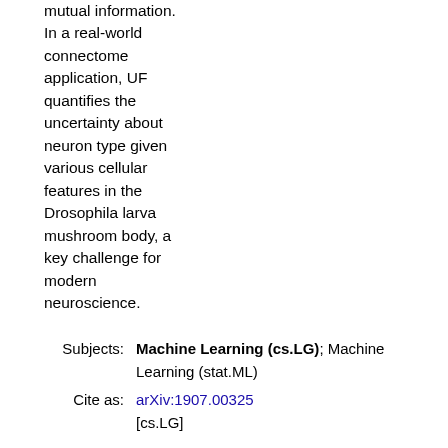mutual information. In a real-world connectome application, UF quantifies the uncertainty about neuron type given various cellular features in the Drosophila larva mushroom body, a key challenge for modern neuroscience.
Subjects: Machine Learning (cs.LG); Machine Learning (stat.ML)
Cite as: arXiv:1907.00325 [cs.LG]